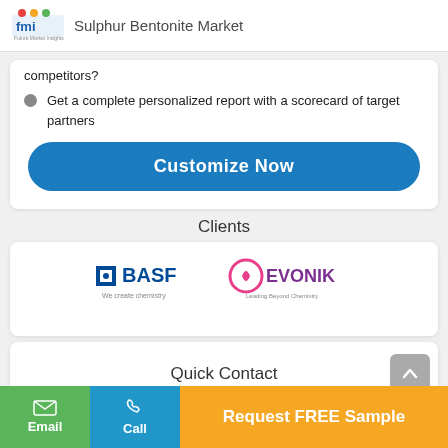Sulphur Bentonite Market
Get a complete personalized report with a scorecard of target partners
Customize Now
Clients
[Figure (logo): BASF and Evonik company logos]
Quick Contact
Email
Call
Request FREE Sample